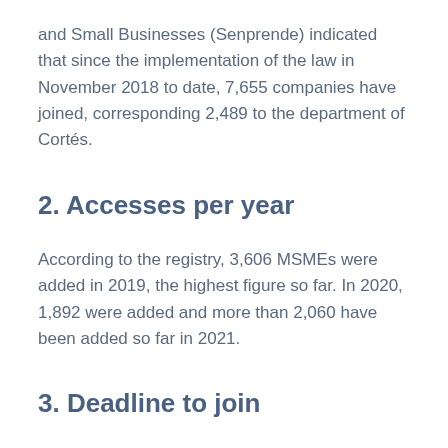and Small Businesses (Senprende) indicated that since the implementation of the law in November 2018 to date, 7,655 companies have joined, corresponding 2,489 to the department of Cortés.
2. Accesses per year
According to the registry, 3,606 MSMEs were added in 2019, the highest figure so far. In 2020, 1,892 were added and more than 2,060 have been added so far in 2021.
3. Deadline to join
MSMEs have until November 17 of this year to join.
It should be recalled that Law 145-20188 states that MSMEs are exempted for 5 years from paying income tax, industry, commerce, and services tax of the municipality,